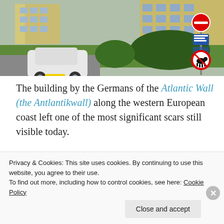[Figure (photo): Street-level photo of a Dutch residential neighbourhood with a white Fiat Panda car parked on a driveway, a green lawn, apartment buildings in the background, and Dutch road signs including a no-entry sign and a no-dogs sign on a post.]
The building by the Germans of the Atlantic Wall (the Antlantikwall) along the western European coast left one of the most significant scars still visible today.
[Figure (photo): Partial photo showing the lower facade of a brick apartment building with white shuttered windows and a blue balcony railing, against a grey sky.]
Privacy & Cookies: This site uses cookies. By continuing to use this website, you agree to their use.
To find out more, including how to control cookies, see here: Cookie Policy